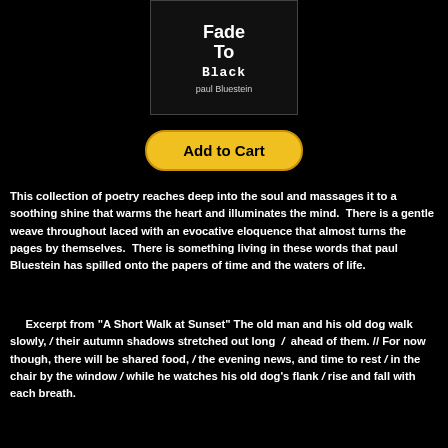[Figure (illustration): Book cover for 'Fade To Black' by paul Bluestein. Dark background with bold white text showing 'Fade To' and 'Black' in a monospaced style, with author name below.]
Add to Cart
This collection of poetry reaches deep into the soul and massages it to a soothing shine that warms the heart and illuminates the mind.  There is a gentle weave throughout laced with an evocative eloquence that almost turns the pages by themselves.  There is something living in these words that paul Bluestein has spilled onto the papers of time and the waters of life.
Excerpt from "A Short Walk at Sunset" The old man and his old dog walk slowly, / their autumn shadows stretched out long  /  ahead of them. // For now though, there will be shared food, / the evening news, and time to rest / in the chair by the window / while he watches his old dog's flank / rise and fall with each breath.